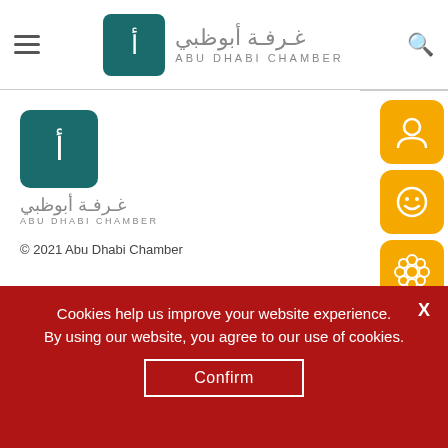Abu Dhabi Chamber — navigation header with hamburger menu, logo, and search icon
[Figure (logo): Abu Dhabi Chamber logo with Arabic text and square teal icon in main content area]
© 2021 Abu Dhabi Chamber
Related News
[Figure (infographic): Right-side orange icon buttons: user/profile, smiley face, flower/rosette, QR code]
Cookies help us improve your website experience. By using our website, you agree to our use of cookies.
Confirm